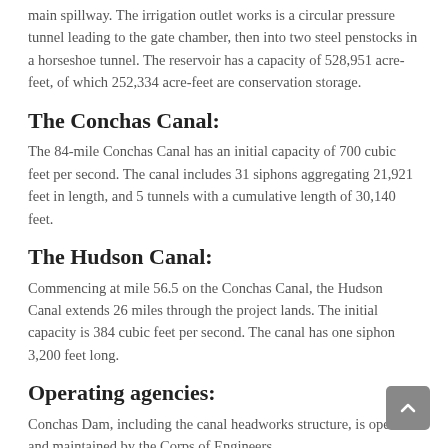main spillway. The irrigation outlet works is a circular pressure tunnel leading to the gate chamber, then into two steel penstocks in a horseshoe tunnel. The reservoir has a capacity of 528,951 acre-feet, of which 252,334 acre-feet are conservation storage.
The Conchas Canal:
The 84-mile Conchas Canal has an initial capacity of 700 cubic feet per second. The canal includes 31 siphons aggregating 21,921 feet in length, and 5 tunnels with a cumulative length of 30,140 feet.
The Hudson Canal:
Commencing at mile 56.5 on the Conchas Canal, the Hudson Canal extends 26 miles through the project lands. The initial capacity is 384 cubic feet per second. The canal has one siphon 3,200 feet long.
Operating agencies:
Conchas Dam, including the canal headworks structure, is operated and maintained by the Corps of Engineers.